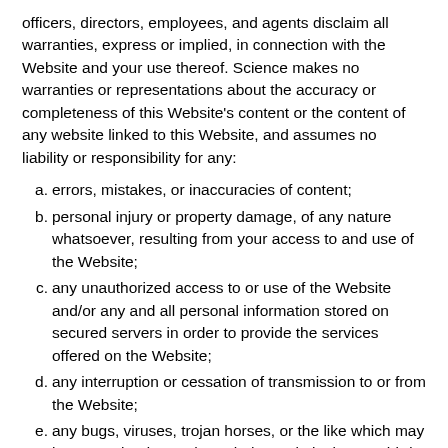officers, directors, employees, and agents disclaim all warranties, express or implied, in connection with the Website and your use thereof. Science makes no warranties or representations about the accuracy or completeness of this Website's content or the content of any website linked to this Website, and assumes no liability or responsibility for any:
errors, mistakes, or inaccuracies of content;
personal injury or property damage, of any nature whatsoever, resulting from your access to and use of the Website;
any unauthorized access to or use of the Website and/or any and all personal information stored on secured servers in order to provide the services offered on the Website;
any interruption or cessation of transmission to or from the Website;
any bugs, viruses, trojan horses, or the like which may be transmitted to or through the Website by any third-party; and/or
any errors or omissions in any content or for any loss or damage of any kind incurred as a result of the use of any content made available via the Website.